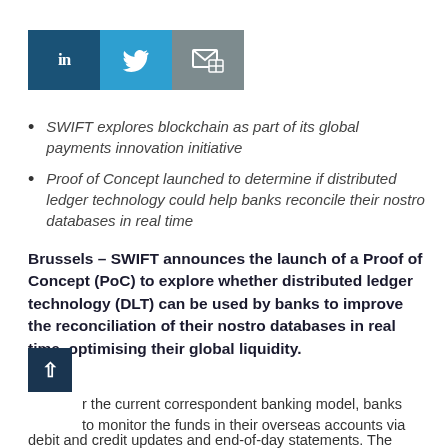[Figure (other): Social media share buttons: LinkedIn (dark blue), Twitter (light blue), Email/share (grey)]
SWIFT explores blockchain as part of its global payments innovation initiative
Proof of Concept launched to determine if distributed ledger technology could help banks reconcile their nostro databases in real time
Brussels – SWIFT announces the launch of a Proof of Concept (PoC) to explore whether distributed ledger technology (DLT) can be used by banks to improve the reconciliation of their nostro databases in real time, optimising their global liquidity.
r the current correspondent banking model, banks to monitor the funds in their overseas accounts via debit and credit updates and end-of-day statements. The